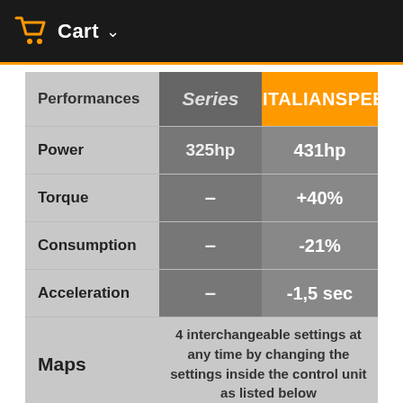Cart
| Performances | Series | ITALIANSPEED |
| --- | --- | --- |
| Power | 325hp | 431hp |
| Torque | – | +40% |
| Consumption | – | -21% |
| Acceleration | – | -1,5 sec |
| Maps | 4 interchangeable settings at any time by changing the settings inside the control unit as listed below |  |
|  | RACE |  |